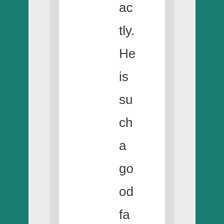actly. He is such a good father in this movie. He does